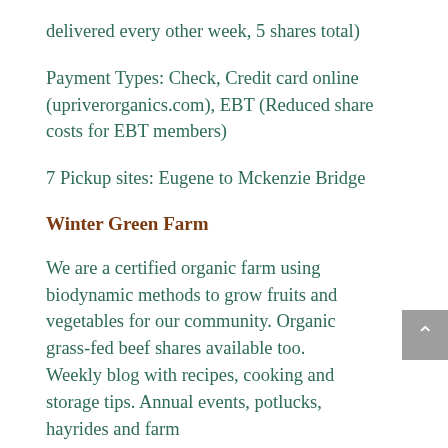delivered every other week, 5 shares total)
Payment Types: Check, Credit card online (upriverorganics.com), EBT (Reduced share costs for EBT members)
7 Pickup sites: Eugene to Mckenzie Bridge
Winter Green Farm
We are a certified organic farm using biodynamic methods to grow fruits and vegetables for our community. Organic grass-fed beef shares available too. Weekly blog with recipes, cooking and storage tips. Annual events, potlucks, hayrides and farm